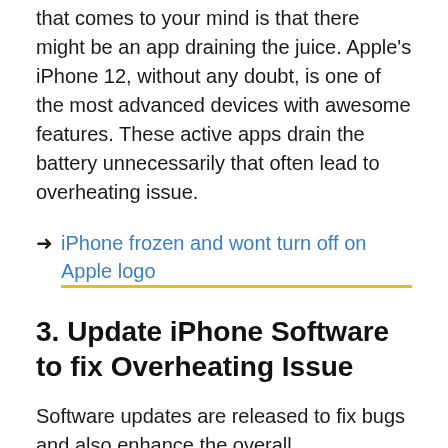that comes to your mind is that there might be an app draining the juice. Apple's iPhone 12, without any doubt, is one of the most advanced devices with awesome features. These active apps drain the battery unnecessarily that often lead to overheating issue.
→ iPhone frozen and wont turn off on Apple logo
3. Update iPhone Software to fix Overheating Issue
Software updates are released to fix bugs and also enhance the overall performance. Since this issue is mainly due to software issue, it is highly possible that the update will fix the problem. However, if it doesn't then you will have to contact Apple for assistance.